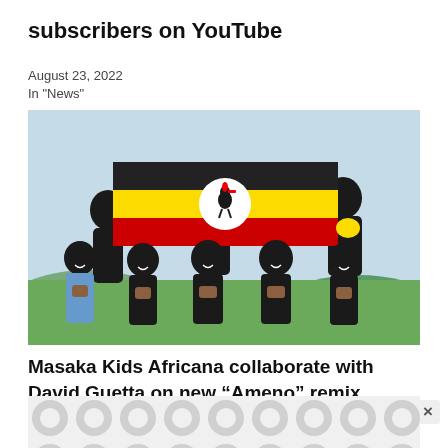subscribers on YouTube
August 23, 2022
In "News"
[Figure (photo): Group of children holding a Uganda flag outdoors, smiling with hands pressed together in a prayer gesture.]
Masaka Kids Africana collaborate with David Guetta on new “Ameno” remix
[Figure (other): Advertisement banner with grey circle pattern]